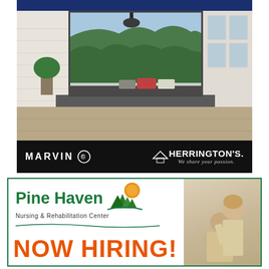[Figure (photo): Top dark blue/navy banner strip with gold/yellow bottom border]
[Figure (photo): Marvin Windows advertisement showing a bright interior room with large panoramic window overlooking forested hills, with MARVIN and HERRINGTON'S logos at bottom. Tagline: We share your passion.]
[Figure (infographic): Pine Haven Nursing & Rehabilitation Center advertisement with green border, logo with pine trees and sun icon, nurse photo on right, and NOW HIRING! text in orange.]